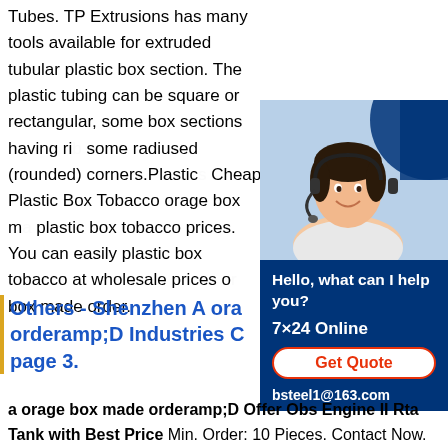Tubes. TP Extrusions has many tools available for extruded tubular plastic box section. The plastic tubing can be square or rectangular, some box sections having ri... some radiused (rounded) corners.Plastic... Cheap Plastic Box Tobacco orage box m... plastic box tobacco prices. You can easily... plastic box tobacco at wholesale prices o... box made order.
[Figure (photo): Customer service representative wearing a headset, smiling. Dark blue background with circular design element. Text: Hello, what can I help you? 7×24 Online. Get Quote button. bsteel1@163.com]
Others - Shenzhen A ora... orderamp;D Industries C... page 3.
a orage box made orderamp;D Offer Obs Engine II Rta Tank with Best Price Min. Order: 10 Pieces. Contact Now. Authentic Hugo Vapor Hcigar Vt Boxin DNA75 Box Mod Min. Order: 5 Pieces. Contact Now. Original DNA75 Chip Hcigar Vt Inbox 75W Box Mod Min. Order: 10 Pieces. Contact Now. Hcigar Temp